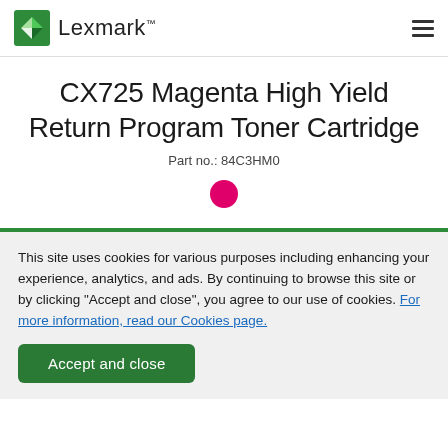Lexmark
CX725 Magenta High Yield Return Program Toner Cartridge
Part no.: 84C3HM0
[Figure (illustration): Magenta filled circle color swatch]
This site uses cookies for various purposes including enhancing your experience, analytics, and ads. By continuing to browse this site or by clicking "Accept and close", you agree to our use of cookies. For more information, read our Cookies page.
Accept and close